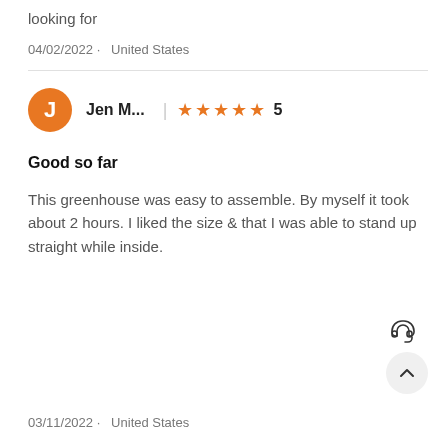looking for
04/02/2022 · United States
Jen M... | ★★★★★ 5
Good so far
This greenhouse was easy to assemble. By myself it took about 2 hours. I liked the size & that I was able to stand up straight while inside.
03/11/2022 · United States